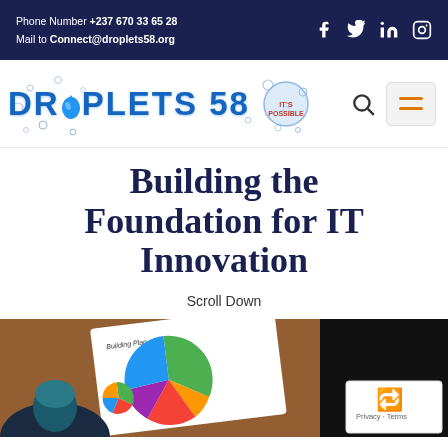Phone Number +237 670 33 65 28  Mail to Connect@droplets58.org
[Figure (logo): Droplets 58 logo with water droplet effect and blue text, navigation bar with search and menu icons]
Building the Foundation for IT Innovation
Scroll Down
[Figure (photo): Person looking at business plan documents with a colorful pie chart, partially dark background on right]